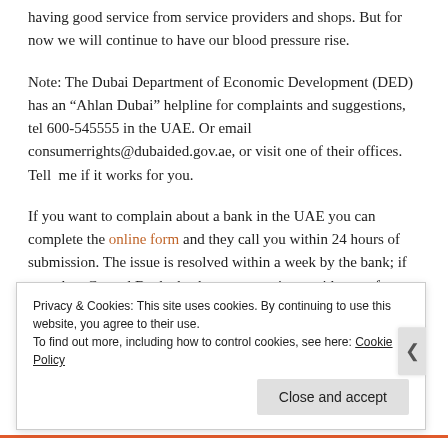having good service from service providers and shops. But for now we will continue to have our blood pressure rise.
Note: The Dubai Department of Economic Development (DED) has an “Ahlan Dubai” helpline for complaints and suggestions, tel 600-545555 in the UAE. Or email consumerrights@dubaided.gov.ae, or visit one of their offices. Tell me if it works for you.
If you want to complain about a bank in the UAE you can complete the online form and they call you within 24 hours of submission. The issue is resolved within a week by the bank; if not when Central Bank check up on your issue with you after a week you can tell them the bank are still not
Privacy & Cookies: This site uses cookies. By continuing to use this website, you agree to their use.
To find out more, including how to control cookies, see here: Cookie Policy
Close and accept